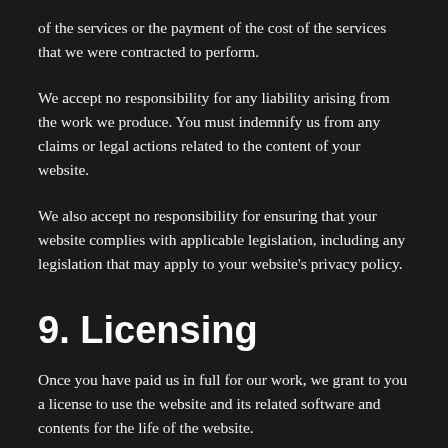of the services or the payment of the cost of the services that we were contracted to perform.
We accept no responsibility for any liability arising from the work we produce. You must indemnify us from any claims or legal actions related to the content of your website.
We also accept no responsibility for ensuring that your website complies with applicable legislation, including any legislation that may apply to your website's privacy policy.
9. Licensing
Once you have paid us in full for our work, we grant to you a license to use the website and its related software and contents for the life of the website.
We retain the copyright and all other intellectual